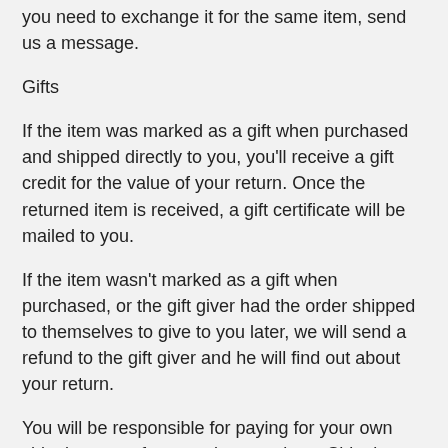you need to exchange it for the same item, send us a message.
Gifts
If the item was marked as a gift when purchased and shipped directly to you, you’ll receive a gift credit for the value of your return. Once the returned item is received, a gift certificate will be mailed to you.
If the item wasn’t marked as a gift when purchased, or the gift giver had the order shipped to themselves to give to you later, we will send a refund to the gift giver and he will find out about your return.
You will be responsible for paying for your own shipping costs for returning your item. Shipping costs are non-refundable. If you receive a refund, the cost of return shipping will be deducted from your refund.
Depending on where you live, the time it may take for your exchanged product to reach you, may vary.